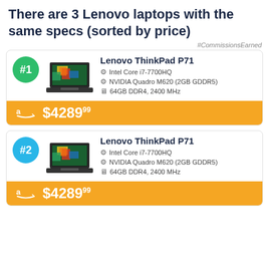There are 3 Lenovo laptops with the same specs (sorted by price)
#CommissionsEarned
#1 Lenovo ThinkPad P71
Intel Core i7-7700HQ
NVIDIA Quadro M620 (2GB GDDR5)
64GB DDR4, 2400 MHz
$4289.99
#2 Lenovo ThinkPad P71
Intel Core i7-7700HQ
NVIDIA Quadro M620 (2GB GDDR5)
64GB DDR4, 2400 MHz
$4289.99